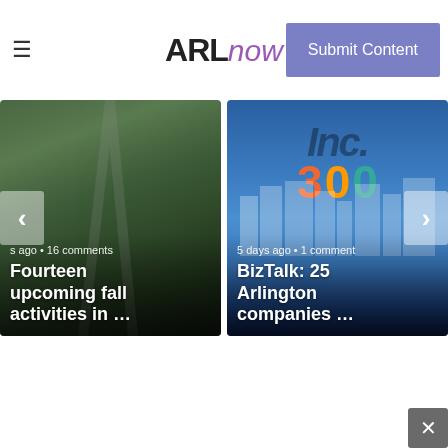ARLnow — Submit Content
[Figure (screenshot): News article card with aerial forest/road photo: 'Fourteen upcoming fall activities in ...' — shown with left navigation arrow, timestamp 's ago • 16 comments']
[Figure (screenshot): News article card with city skyline photo and Inc 500 logo overlay: 'BizTalk: 25 Arlington companies ...' — shown with right navigation arrow, timestamp '5 days ago • 1 comment']